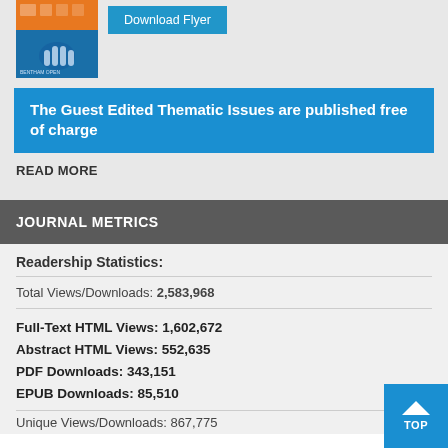[Figure (illustration): Book or journal cover image with orange and blue colors, with a Download Flyer button next to it]
The Guest Edited Thematic Issues are published free of charge
READ MORE
JOURNAL METRICS
Readership Statistics:
Total Views/Downloads: 2,583,968
Full-Text HTML Views: 1,602,672
Abstract HTML Views: 552,635
PDF Downloads: 343,151
EPUB Downloads: 85,510
Unique Views/Downloads: 867,775